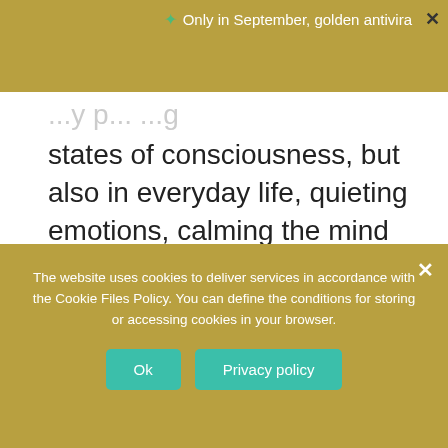Only in September, golden antivira
states of consciousness, but also in everyday life, quieting emotions, calming the mind and clearing negative thoughts, entering into inner harmony, feeling positive feelings like joy and love.
AGMs mainly consist of one, two or more rarely of three words. And do not try to understand them logically, because this one is beyond the understanding of the brain and works at the subconscious level. AGMs
The website uses cookies to deliver services in accordance with the Cookie Files Policy. You can define the conditions for storing or accessing cookies in your browser.